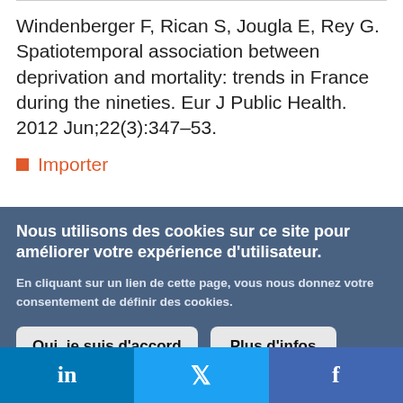Windenberger F, Rican S, Jougla E, Rey G. Spatiotemporal association between deprivation and mortality: trends in France during the nineties. Eur J Public Health. 2012 Jun;22(3):347–53.
Importer
Nous utilisons des cookies sur ce site pour améliorer votre expérience d'utilisateur.
En cliquant sur un lien de cette page, vous nous donnez votre consentement de définir des cookies.
Oui, je suis d'accord
Plus d'infos
in  f